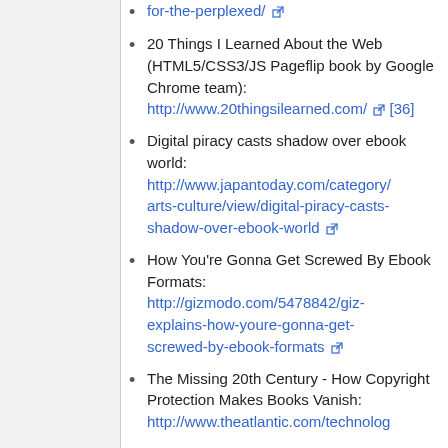for-the-perplexed/ [external link]
20 Things I Learned About the Web (HTML5/CSS3/JS Pageflip book by Google Chrome team): http://www.20thingsilearned.com/ [external link] [36]
Digital piracy casts shadow over ebook world: http://www.japantoday.com/category/arts-culture/view/digital-piracy-casts-shadow-over-ebook-world [external link]
How You're Gonna Get Screwed By Ebook Formats: http://gizmodo.com/5478842/giz-explains-how-youre-gonna-get-screwed-by-ebook-formats [external link]
The Missing 20th Century - How Copyright Protection Makes Books Vanish: http://www.theatlantic.com/technolog...